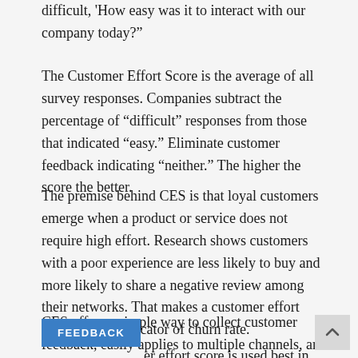difficult, 'How easy was it to interact with our company today?'
The Customer Effort Score is the average of all survey responses. Companies subtract the percentage of “difficult” responses from those that indicated “easy.” Eliminate customer feedback indicating “neither.” The higher the score the better.
The premise behind CES is that loyal customers emerge when a product or service does not require high effort. Research shows customers with a poor experience are less likely to buy and more likely to share a negative review among their networks. That makes a customer effort score a good indicator of churn rate.
CES offers a simple way to collect customer feedback, easily applies to multiple channels, and is trackable over ti…er effort score is used best in tandem with